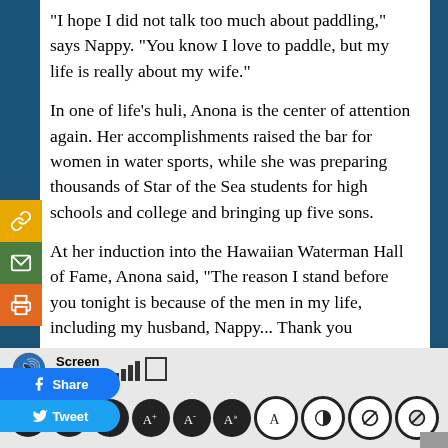“I hope I did not talk too much about paddling,” says Nappy. “You know I love to paddle, but my life is really about my wife.”
In one of life’s huli, Anona is the center of attention again. Her accomplishments raised the bar for women in water sports, while she was preparing thousands of Star of the Sea students for high schools and college and bringing up five sons.
At her induction into the Hawaiian Waterman Hall of Fame, Anona said, “The reason I stand before you tonight is because of the men in my life, including my husband, Nappy… Thank you
[Figure (screenshot): Social sharing sidebar with chain link (gold), email (green), print (orange) buttons, plus Facebook Share and Twitter Tweet buttons]
[Figure (screenshot): Screen Reader accessibility toolbar with signal bars and audio playback controls at the bottom of the page]